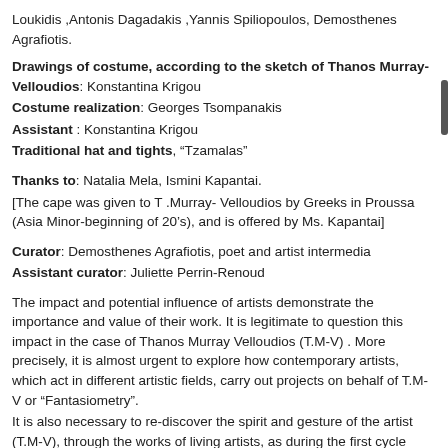Loukidis ,Antonis Dagadakis ,Yannis Spiliopoulos, Demosthenes Agrafiotis.
Drawings of costume, according to the sketch of Thanos Murray- Velloudios: Konstantina Krigou
Costume realization: Georges Tsompanakis
Assistant : Konstantina Krigou
Traditional hat and tights, "Tzamalas"
Thanks to: Natalia Mela, Ismini Kapantai.
[The cape was given to T .Murray- Velloudios by Greeks in Proussa (Asia Minor-beginning of 20’s), and is offered by Ms. Kapantai]
Curator: Demosthenes Agrafiotis, poet and artist intermedia
Assistant curator: Juliette Perrin-Renoud
The impact and potential influence of artists demonstrate the importance and value of their work. It is legitimate to question this impact in the case of Thanos Murray Velloudios (T.M-V) . More precisely, it is almost urgent to explore how contemporary artists, which act in different artistic fields, carry out projects on behalf of T.M-V or “Fantasiometry”.
It is also necessary to re-discover the spirit and gesture of the artist (T.M-V), through the works of living artists, as during the first cycle dedicated to Velloudios (January-February 2015, Beton7), the goal was to show historical and aesthetic origins of his work.